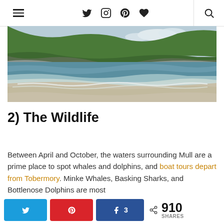≡  🐦  📷  𝐏  ♥  🔍
[Figure (photo): Coastal beach scene with waves lapping sandy shore, blue ocean water, and green hillside/cliffs in the background under a partly cloudy sky.]
2) The Wildlife
Between April and October, the waters surrounding Mull are a prime place to spot whales and dolphins, and boat tours depart from Tobermory. Minke Whales, Basking Sharks, and Bottlenose Dolphins are most
Twitter  Pinterest  Facebook 3  < 910 SHARES